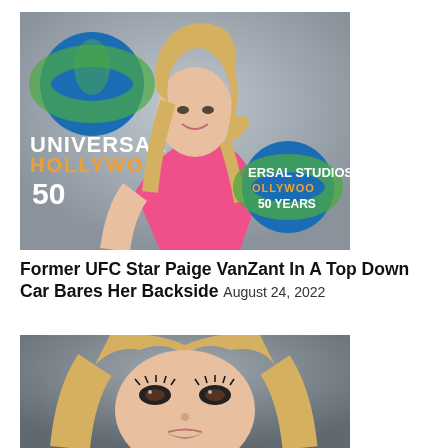[Figure (photo): Blonde woman in pink top posing in front of Universal Studios Hollywood backdrop with globe logo and '50' signage]
Former UFC Star Paige VanZant In A Top Down Car Bares Her Backside August 24, 2022
[Figure (photo): Close-up portrait of blonde woman with heavy eye makeup looking at camera]